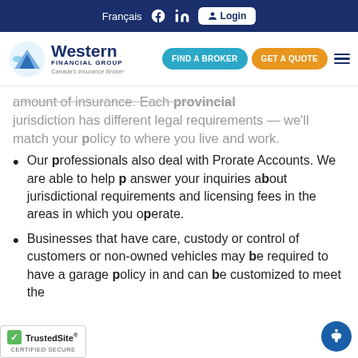Français  Login
[Figure (logo): Western Financial Group - Canada's Insurance Broker logo with FIND A BROKER and GET A QUOTE buttons]
...amount of insurance. Each provincial jurisdiction has different legal requirements — we'll match your policy to where you live and work.
Our professionals also deal with Prorate Accounts. We are able to help answer your inquiries about jurisdictional requirements and licensing fees in the areas in which you operate.
Businesses that have care, custody or control of customers or non-owned vehicles may be required to have a garage policy in and can be customized to meet the